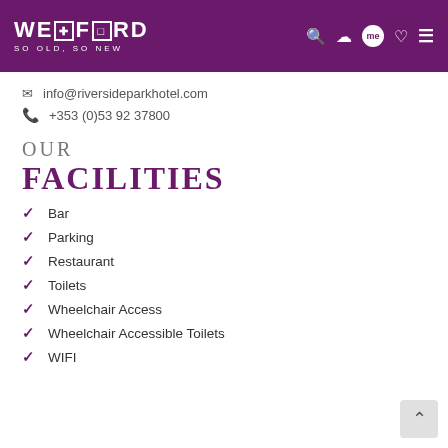WEXFORD SO OLD, SO NEW
info@riversideparkhotel.com
+353 (0)53 92 37800
OUR FACILITIES
Bar
Parking
Restaurant
Toilets
Wheelchair Access
Wheelchair Accessible Toilets
WIFI